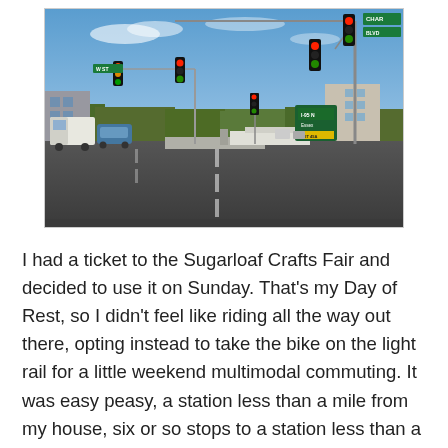[Figure (photo): Street-level photo of a road intersection with traffic lights on poles and arms overhead, green street signs, a direction sign, trees in the background, and vehicles on the road, under a blue sky with light clouds.]
I had a ticket to the Sugarloaf Crafts Fair and decided to use it on Sunday. That's my Day of Rest, so I didn't feel like riding all the way out there, opting instead to take the bike on the light rail for a little weekend multimodal commuting. It was easy peasy, a station less than a mile from my house, six or so stops to a station less than a mile from the fairgrounds. There were no bike racks, but I still